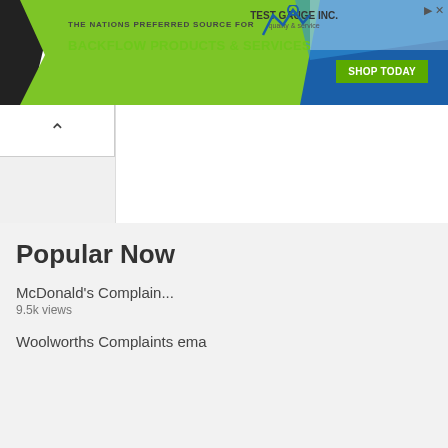[Figure (screenshot): Advertisement banner for Test Gauge Inc. showing 'THE NATIONS PREFERRED SOURCE FOR BACKFLOW PRODUCTS & SERVICES' with green diagonal design elements, Test Gauge Inc. logo, and a green 'SHOP TODAY' button.]
[Figure (screenshot): Collapse/accordion button with upward caret (^) symbol in a white rounded rectangle tab.]
Popular Now
McDonald's Complain...
9.5k views
Woolworths Complaints ema